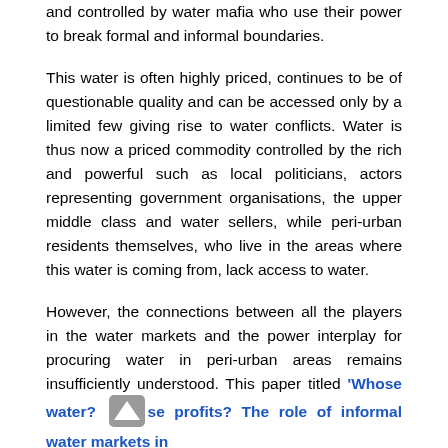and controlled by water mafia who use their power to break formal and informal boundaries.
This water is often highly priced, continues to be of questionable quality and can be accessed only by a limited few giving rise to water conflicts. Water is thus now a priced commodity controlled by the rich and powerful such as local politicians, actors representing government organisations, the upper middle class and water sellers, while peri-urban residents themselves, who live in the areas where this water is coming from, lack access to water.
However, the connections between all the players in the water markets and the power interplay for procuring water in peri-urban areas remains insufficiently understood. This paper titled 'Whose water? Whose profits? The role of informal water markets in